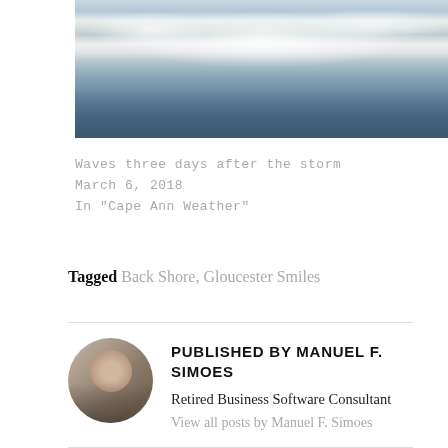[Figure (photo): Ocean waves photo — waves crashing with white foam and spray, taken three days after a storm]
Waves three days after the storm
March 6, 2018
In "Cape Ann Weather"
Tagged Back Shore, Gloucester Smiles
PUBLISHED BY MANUEL F. SIMOES
Retired Business Software Consultant
View all posts by Manuel F. Simoes